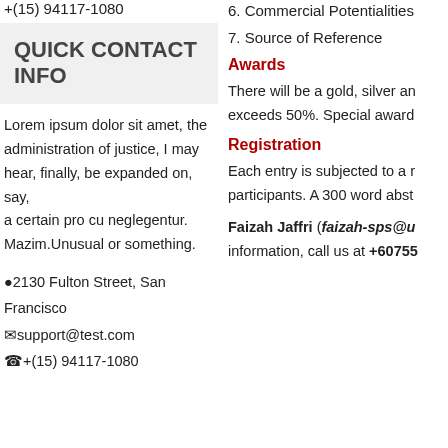+(15) 94117-1080
QUICK CONTACT INFO
Lorem ipsum dolor sit amet, the administration of justice, I may hear, finally, be expanded on, say, a certain pro cu neglegentur. Mazim.Unusual or something.
📍2130 Fulton Street, San Francisco
✉support@test.com
📞+(15) 94117-1080
6. Commercial Potentialities
7. Source of Reference
Awards
There will be a gold, silver an exceeds 50%. Special award
Registration
Each entry is subjected to a r participants. A 300 word abst
Faizah Jaffri (faizah-sps@u information, call us at +60755